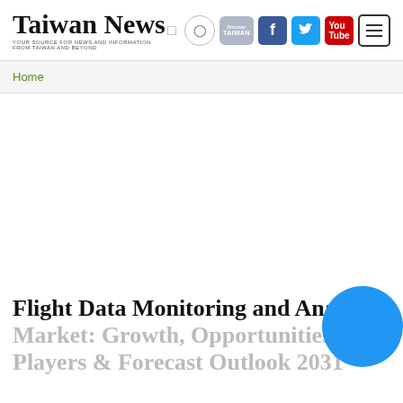Taiwan News
Home
Flight Data Monitoring and Analysis Market: Growth, Opportunities, Key Players & Forecast Outlook 2031